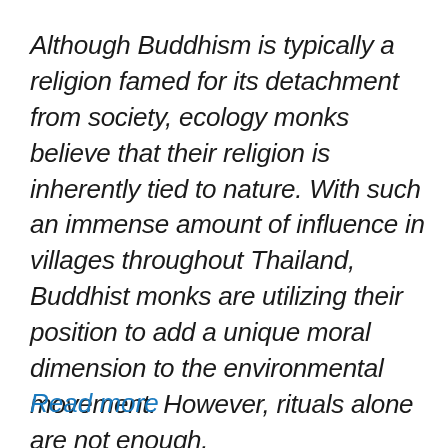Although Buddhism is typically a religion famed for its detachment from society, ecology monks believe that their religion is inherently tied to nature. With such an immense amount of influence in villages throughout Thailand, Buddhist monks are utilizing their position to add a unique moral dimension to the environmental movement. However, rituals alone are not enough.
Read more